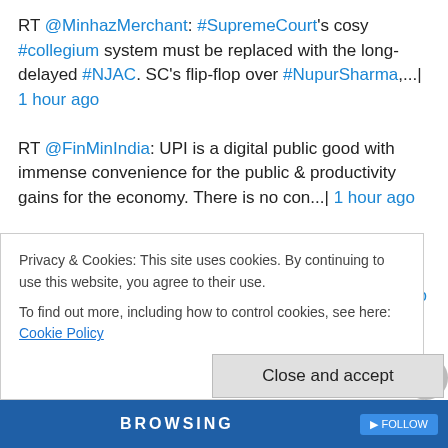RT @MinhazMerchant: #SupremeCourt's cosy #collegium system must be replaced with the long-delayed #NJAC. SC's flip-flop over #NupurSharma,...| 1 hour ago
RT @FinMinIndia: UPI is a digital public good with immense convenience for the public & productivity gains for the economy. There is no con...| 1 hour ago
RT @NavroopSingh_: Center goes after AAP in Delhi & Farmers descend on Delhi once again. Kejriwal indeed has solid foreign backing (of cour...| 1 hour ago
RT @ajitdatta: Last week, the Kerala Police finally identified those who had vandalized Pujya Bapu Mahatma Gandhi's statue in MP Rahul Gand...| 2 hours ago
Privacy & Cookies: This site uses cookies. By continuing to use this website, you agree to their use. To find out more, including how to control cookies, see here: Cookie Policy
Close and accept
BROWSING